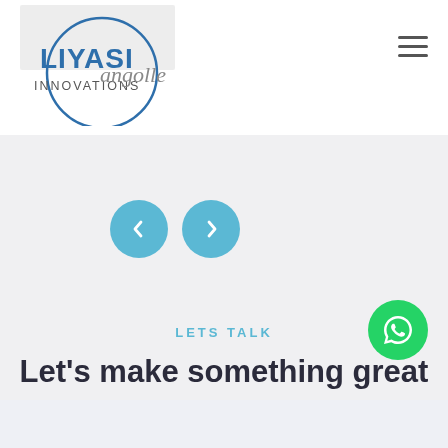[Figure (logo): Liyasi Innovations circular logo with text LIYASI INNOVATIONS in blue and dark letters]
[Figure (other): Hamburger menu icon (three horizontal lines) in top right corner]
angolle
[Figure (other): Two circular blue navigation arrow buttons (left and right) on a light grey background]
LETS TALK
Let's make something great
[Figure (other): Green WhatsApp icon button (circle with phone/chat icon)]